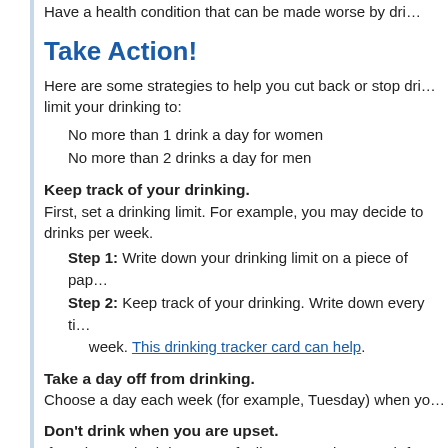Have a health condition that can be made worse by dri…
Take Action!
Here are some strategies to help you cut back or stop drinking. If you drink, limit your drinking to:
No more than 1 drink a day for women
No more than 2 drinks a day for men
Keep track of your drinking.
First, set a drinking limit. For example, you may decide to have no more than drinks per week.
Step 1: Write down your drinking limit on a piece of pap…
Step 2: Keep track of your drinking. Write down every ti… week. This drinking tracker card can help.
Take a day off from drinking.
Choose a day each week (for example, Tuesday) when yo…
Don't drink when you are upset.
If you have a bad day or are feeling angry, don't reach for… calling a friend, or seeing a movie. Find healthy ways to m…
Avoid places where people drink too much.